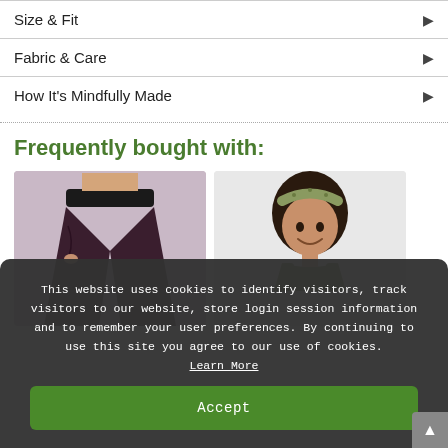Size & Fit
Fabric & Care
How It's Mindfully Made
Frequently bought with:
[Figure (photo): Woman wearing wide-leg dark purple/black pants with black waistband, cropped torso view]
[Figure (photo): Woman smiling wearing olive green tank top and patterned headband]
This website uses cookies to identify visitors, track visitors to our website, store login session information and to remember your user preferences. By continuing to use this site you agree to our use of cookies. Learn More
Accept